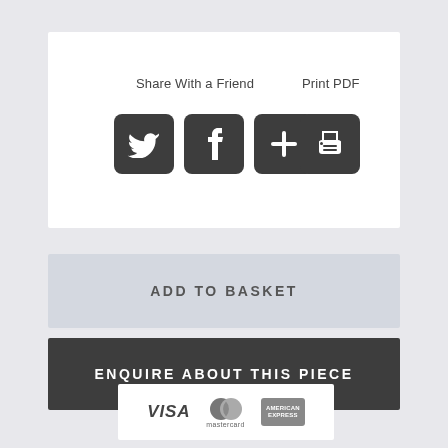[Figure (screenshot): Share With a Friend section with Twitter, Facebook and plus social icons]
Print PDF
ADD TO BASKET
ENQUIRE ABOUT THIS PIECE
[Figure (other): Payment methods: VISA, Mastercard, American Express logos]